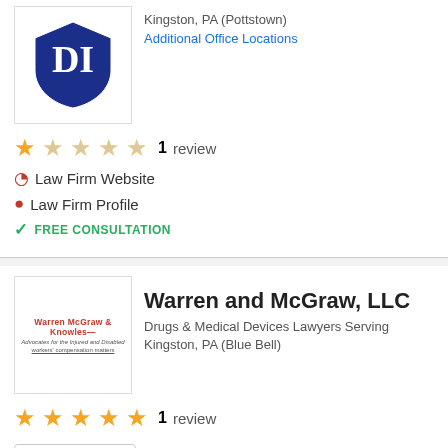Kingston, PA (Pottstown)
Additional Office Locations
1 review
Law Firm Website
Law Firm Profile
FREE CONSULTATION
Warren and McGraw, LLC
Drugs & Medical Devices Lawyers Serving Kingston, PA (Blue Bell)
1 review
3 Super Lawyers
Law Firm Profile